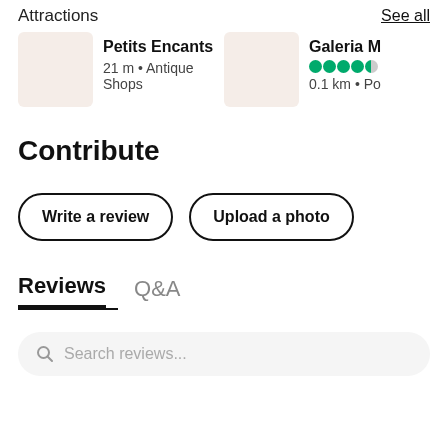Attractions
See all
Petits Encants
21 m • Antique Shops
Galeria M
0.1 km • Po
Contribute
Write a review
Upload a photo
Reviews
Q&A
Search reviews...